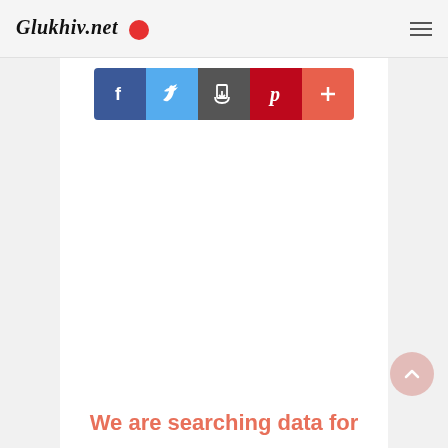Glukhiv.net
[Figure (screenshot): Row of five social sharing buttons: Facebook (blue), Twitter (light blue), a share/bookmark icon (dark gray), Pinterest (red/pink), and a plus/share button (coral/orange-red)]
We are searching data for
[Figure (other): Scroll-to-top circular button with upward arrow chevron, semi-transparent pink/coral color]